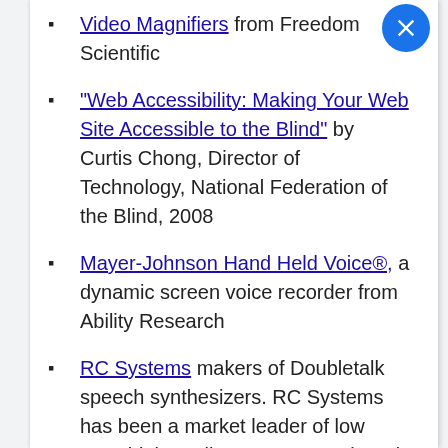Video Magnifiers from Freedom Scientific
"Web Accessibility: Making Your Web Site Accessible to the Blind" by Curtis Chong, Director of Technology, National Federation of the Blind, 2008
Mayer-Johnson Hand Held Voice®, a dynamic screen voice recorder from Ability Research
RC Systems makers of Doubletalk speech synthesizers. RC Systems has been a market leader of low cost, high quality text-to-speech and voice synthesis products since 1983. You'll